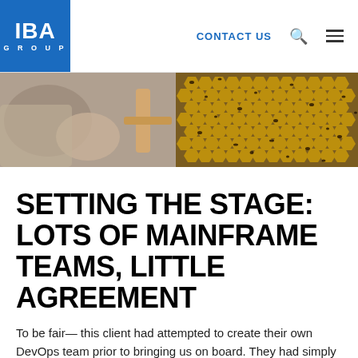IBA GROUP | CONTACT US
[Figure (photo): Close-up photo of a beekeeper handling a honeycomb frame covered with bees]
SETTING THE STAGE: LOTS OF MAINFRAME TEAMS, LITTLE AGREEMENT
To be fair— this client had attempted to create their own DevOps team prior to bringing us on board. They had simply followed an approach that did not result in a unified, effective group of DevOps champions that were capable of driving their organization-wide transformation